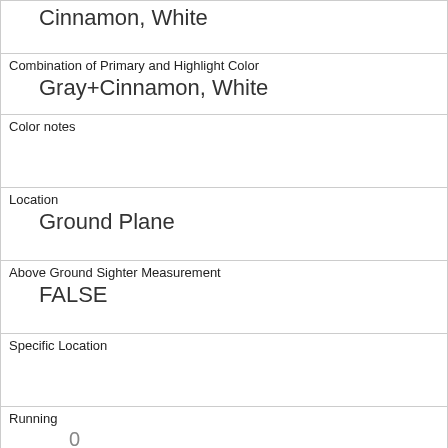| Cinnamon, White |
| Combination of Primary and Highlight Color
Gray+Cinnamon, White |
| Color notes |  |
| Location
Ground Plane |
| Above Ground Sighter Measurement
FALSE |
| Specific Location |  |
| Running
0 |
| Chasing
1 |
| Climbing
1 |
| Eating
0 |
| Foraging
0 |